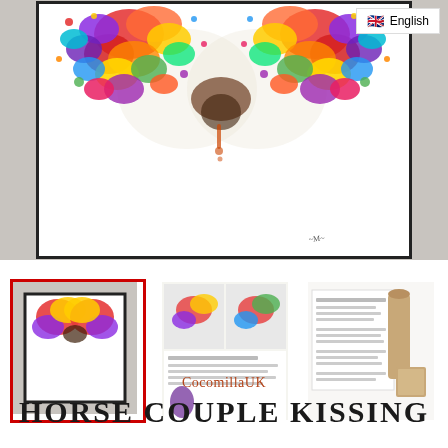[Figure (photo): Large framed print of two colorful horse heads kissing/nuzzling, displayed as artwork in a black frame on a grey wall. The horses are depicted with vibrant splatter-paint colors against a white background.]
[Figure (photo): Three thumbnail images below the main image: first is the same horse kissing artwork (selected, red border), second shows a collage of product details, third shows packaging/certificate of authenticity with a cardboard tube.]
CocomillaUK
HORSE COUPLE KISSING